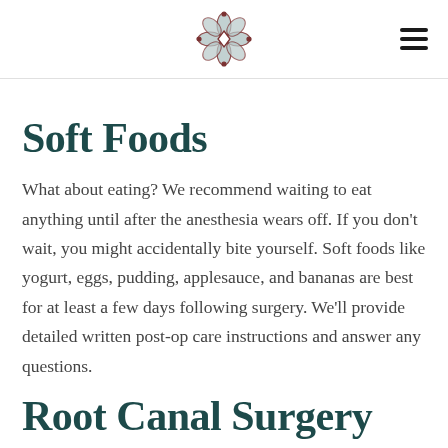[Logo and navigation menu]
Soft Foods
What about eating? We recommend waiting to eat anything until after the anesthesia wears off. If you don't wait, you might accidentally bite yourself. Soft foods like yogurt, eggs, pudding, applesauce, and bananas are best for at least a few days following surgery. We'll provide detailed written post-op care instructions and answer any questions.
Root Canal Surgery